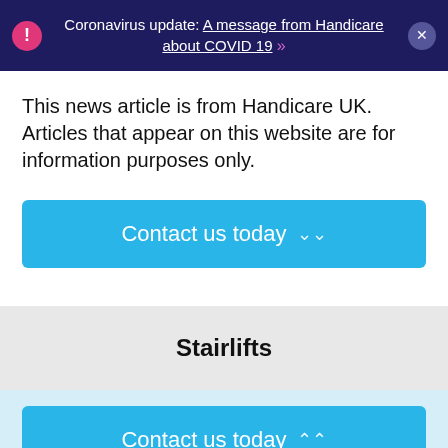Coronavirus update: A message from Handicare about COVID 19 »
This news article is from Handicare UK. Articles that appear on this website are for information purposes only.
[Figure (other): Blue button labeled 'Contact us today' with a double downward chevron]
Stairlifts
[Figure (other): Blue button labeled 'Contact us today' with a double upward chevron]